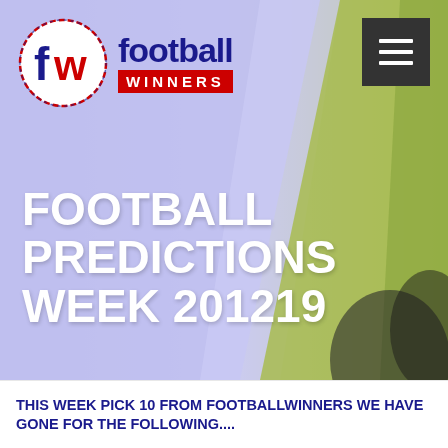[Figure (illustration): Football Winners website header banner with logo (fw circle logo with football/winners text), hamburger menu button top right, hero background blending lavender/periwinkle and yellow-green colors suggesting a football pitch, bold white title text 'FOOTBALL PREDICTIONS WEEK 201219']
FOOTBALL PREDICTIONS WEEK 201219
THIS WEEK PICK 10 FROM FOOTBALLWINNERS WE HAVE GONE FOR THE FOLLOWING....